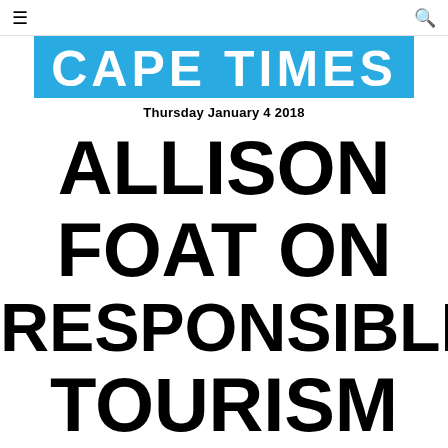☰  [Cape Times logo]  🔍
[Figure (logo): Cape Times newspaper logo — white bold serif text on blue background reading CAPE TIMES]
Thursday January 4 2018
ALLISON FOAT ON RESPONSIBLE TOURISM